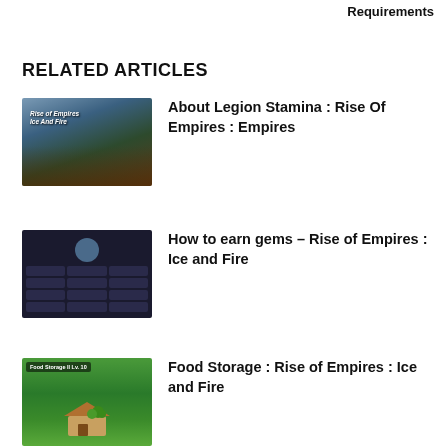Requirements
RELATED ARTICLES
[Figure (illustration): Fantasy battle game thumbnail for Rise of Empires: Ice and Fire with text overlay]
About Legion Stamina : Rise Of Empires
[Figure (screenshot): Dark game UI screenshot showing Rise of Empires: Ice and Fire gems/resources screen]
How to earn gems – Rise of Empires : Ice and Fire
[Figure (illustration): Food Storage II Lv.10 building thumbnail from Rise of Empires: Ice and Fire]
Food Storage : Rise of Empires : Ice and Fire